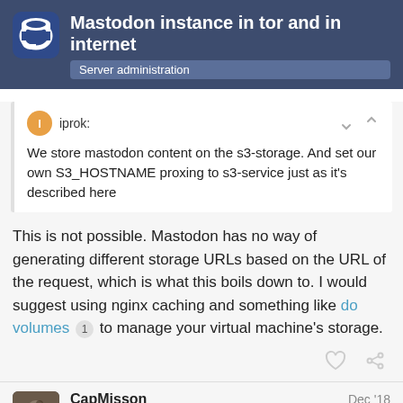Mastodon instance in tor and in internet — Server administration
iprok: We store mastodon content on the s3-storage. And set our own S3_HOSTNAME proxing to s3-service just as it's described here
This is not possible. Mastodon has no way of generating different storage URLs based on the URL of the request, which is what this boils down to. I would suggest using nginx caching and something like do volumes 1 to manage your virtual machine's storage.
CapMisson — Instance Admin — Dec '18
1 / 5